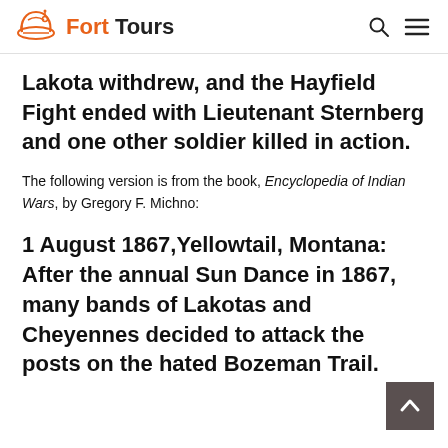Fort Tours
Lakota withdrew, and the Hayfield Fight ended with Lieutenant Sternberg and one other soldier killed in action.
The following version is from the book, Encyclopedia of Indian Wars, by Gregory F. Michno:
1 August 1867,Yellowtail, Montana: After the annual Sun Dance in 1867, many bands of Lakotas and Cheyennes decided to attack the posts on the hated Bozeman Trail.